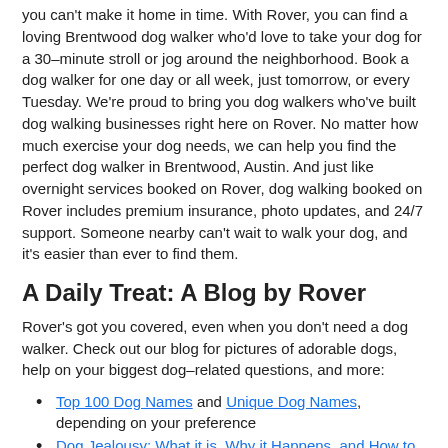you can't make it home in time. With Rover, you can find a loving Brentwood dog walker who'd love to take your dog for a 30–minute stroll or jog around the neighborhood. Book a dog walker for one day or all week, just tomorrow, or every Tuesday. We're proud to bring you dog walkers who've built dog walking businesses right here on Rover. No matter how much exercise your dog needs, we can help you find the perfect dog walker in Brentwood, Austin. And just like overnight services booked on Rover, dog walking booked on Rover includes premium insurance, photo updates, and 24/7 support. Someone nearby can't wait to walk your dog, and it's easier than ever to find them.
A Daily Treat: A Blog by Rover
Rover's got you covered, even when you don't need a dog walker. Check out our blog for pictures of adorable dogs, help on your biggest dog–related questions, and more:
Top 100 Dog Names and Unique Dog Names, depending on your preference
Dog Jealousy: What it is, Why it Happens, and How to Help
9 Dobermans as Sweet as Sugar